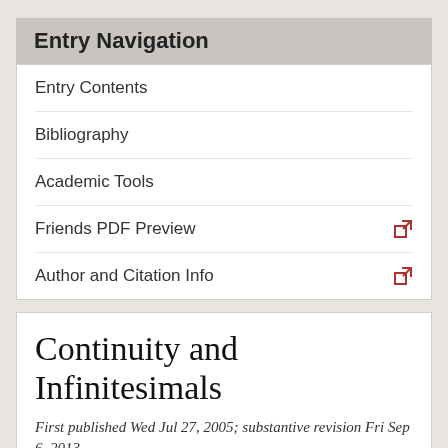Entry Navigation
Entry Contents
Bibliography
Academic Tools
Friends PDF Preview
Author and Citation Info
Continuity and Infinitesimals
First published Wed Jul 27, 2005; substantive revision Fri Sep 6, 2013
The usual meaning of the word continuous is “unbroken” or “uninterrupted”: thus a continuous entity—a continuum—has no “gaps.” We commonly suppose that space and time are continuous, and certain philosophers have